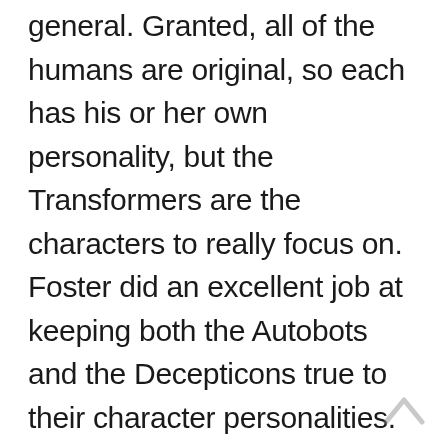general. Granted, all of the humans are original, so each has his or her own personality, but the Transformers are the characters to really focus on. Foster did an excellent job at keeping both the Autobots and the Decepticons true to their character personalities. The only ones mentioned are from the movie (Autobots Optimus Prime, Bumblebee, Ironhide, Jazz, and Ratchet; Decepticons Megatron, Starscream, Barricade, Blackout, Frenzy, Bonecrusher, and Scorponok), so those who are unfamiliar with the Transformer characters will not feel lost. This makes a good intro of the